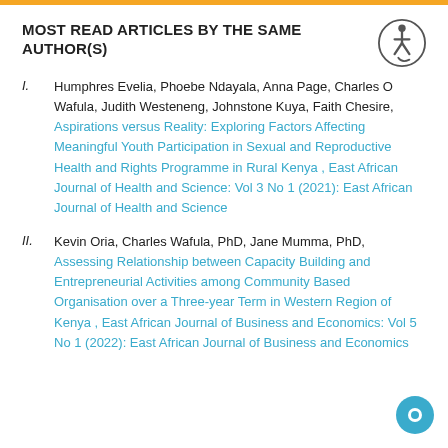MOST READ ARTICLES BY THE SAME AUTHOR(S)
Humphres Evelia, Phoebe Ndayala, Anna Page, Charles O Wafula, Judith Westeneng, Johnstone Kuya, Faith Chesire, Aspirations versus Reality: Exploring Factors Affecting Meaningful Youth Participation in Sexual and Reproductive Health and Rights Programme in Rural Kenya , East African Journal of Health and Science: Vol 3 No 1 (2021): East African Journal of Health and Science
Kevin Oria, Charles Wafula, PhD, Jane Mumma, PhD, Assessing Relationship between Capacity Building and Entrepreneurial Activities among Community Based Organisation over a Three-year Term in Western Region of Kenya , East African Journal of Business and Economics: Vol 5 No 1 (2022): East African Journal of Business and Economics